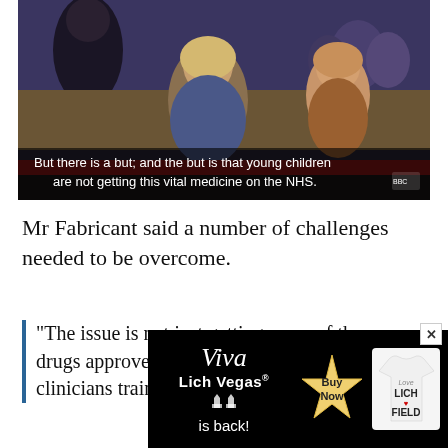[Figure (screenshot): Video screenshot of UK Parliament session with subtitle text: 'But there is a but; and the but is that young children are not getting this vital medicine on the NHS.']
Mr Fabricant said a number of challenges needed to be overcome.
“The issue is not just getting some of these drugs approved, but having sufficient clinicians trained in
[Figure (photo): Advertisement for 'Viva Lich Vegas is back!' with a Buy Now starburst and a t-shirt showing 'Love Lichfield']